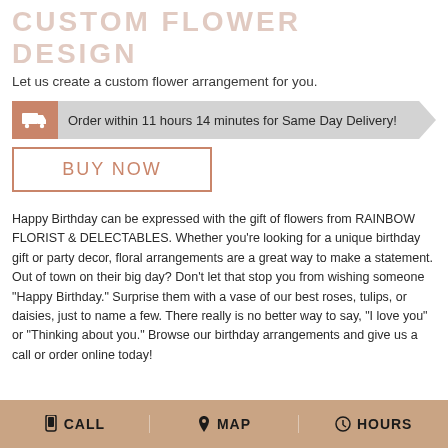CUSTOM FLOWER DESIGN
Let us create a custom flower arrangement for you.
Order within 11 hours 14 minutes for Same Day Delivery!
BUY NOW
Happy Birthday can be expressed with the gift of flowers from RAINBOW FLORIST & DELECTABLES. Whether you're looking for a unique birthday gift or party decor, floral arrangements are a great way to make a statement. Out of town on their big day? Don't let that stop you from wishing someone "Happy Birthday." Surprise them with a vase of our best roses, tulips, or daisies, just to name a few. There really is no better way to say, "I love you" or "Thinking about you." Browse our birthday arrangements and give us a call or order online today!
CALL   MAP   HOURS